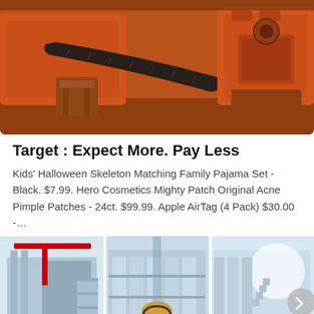[Figure (photo): Orange industrial mining/crushing machinery in a warehouse setting]
Target : Expect More. Pay Less
Kids' Halloween Skeleton Matching Family Pajama Set - Black. $7.99. Hero Cosmetics Mighty Patch Original Acne Pimple Patches - 24ct. $99.99. Apple AirTag (4 Pack) $30.00 -…
[Figure (photo): Industrial factory interior with machinery and shelving, shown in three panels side-by-side with customer service representative overlay]
Get Quotation
Online Chat